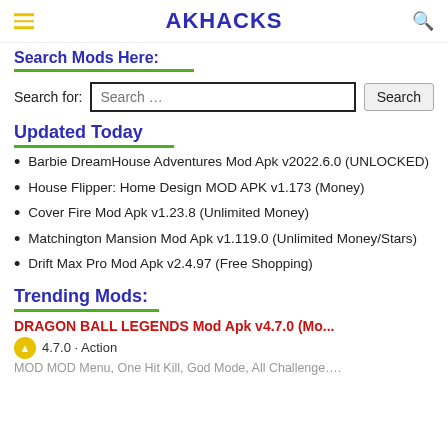AKHACKS
Search Mods Here:
Search for: Search ...
Updated Today
Barbie DreamHouse Adventures Mod Apk v2022.6.0 (UNLOCKED)
House Flipper: Home Design MOD APK v1.173 (Money)
Cover Fire Mod Apk v1.23.8 (Unlimited Money)
Matchington Mansion Mod Apk v1.119.0 (Unlimited Money/Stars)
Drift Max Pro Mod Apk v2.4.97 (Free Shopping)
Trending Mods:
DRAGON BALL LEGENDS Mod Apk v4.7.0 (Mo...
4.7.0 · Action
MOD MOD Menu, One Hit Kill, God Mode, All Challenge....